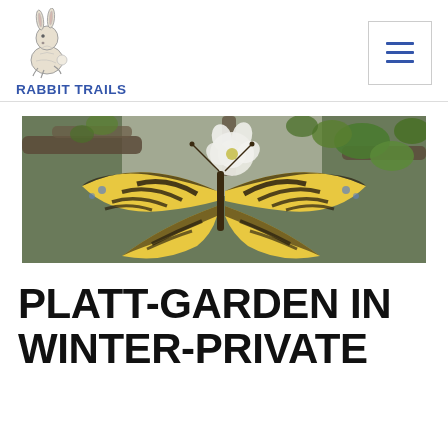RABBIT TRAILS
[Figure (photo): A tiger swallowtail butterfly with yellow and black wings resting on a white flower blossom, with green leaves in the background.]
PLATT-GARDEN IN WINTER-PRIVATE